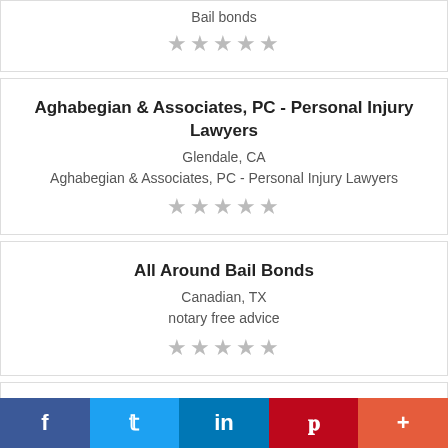Bail bonds
★★★★★
Aghabegian & Associates, PC - Personal Injury Lawyers
Glendale, CA
Aghabegian & Associates, PC - Personal Injury Lawyers
★★★★★
All Around Bail Bonds
Canadian, TX
notary free advice
★★★★★
Aman Solicitors Advocates